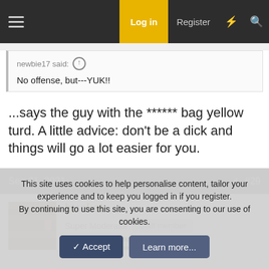Log in  Register
newbie17 said: ↑
No offense, but---YUK!!
...says the guy with the ****** bag yellow turd. A little advice: don't be a dick and things will go a lot easier for you.
Sep 21, 2021  #29
bucket
Super Moderator  Staff member  Super Moderator
This site uses cookies to help personalise content, tailor your experience and to keep you logged in if you register.
By continuing to use this site, you are consenting to our use of cookies.
✓ Accept    Learn more...